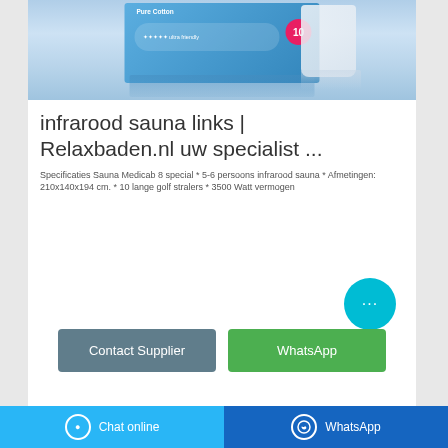[Figure (photo): Product image of a blue package (sanitary pads, Pure Cotton brand) showing packaging with a badge labeled 10, reflected on a light surface]
infrarood sauna links | Relaxbaden.nl uw specialist ...
Specificaties Sauna Medicab 8 special * 5-6 persoons infrarood sauna * Afmetingen: 210x140x194 cm. * 10 lange golf stralers * 3500 Watt vermogen
Chat online | WhatsApp